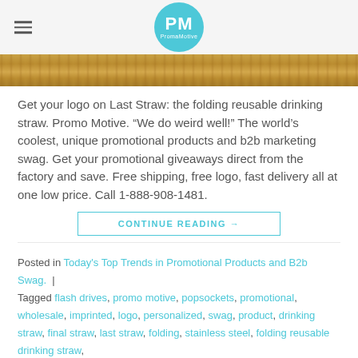PM PromaMotive
[Figure (photo): Horizontal banner image showing a wood plank texture with warm brown and golden tones]
Get your logo on Last Straw: the folding reusable drinking straw. Promo Motive. “We do weird well!” The world’s coolest, unique promotional products and b2b marketing swag. Get your promotional giveaways direct from the factory and save. Free shipping, free logo, fast delivery all at one low price. Call 1-888-908-1481.
CONTINUE READING →
Posted in Today's Top Trends in Promotional Products and B2b Swag.  |  Tagged flash drives, promo motive, popsockets, promotional, wholesale, imprinted, logo, personalized, swag, product, drinking straw, final straw, last straw, folding, stainless steel, folding reusable drinking straw,